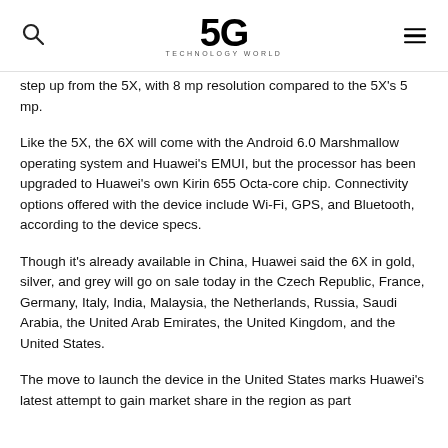5G Technology World
step up from the 5X, with 8 mp resolution compared to the 5X's 5 mp.
Like the 5X, the 6X will come with the Android 6.0 Marshmallow operating system and Huawei's EMUI, but the processor has been upgraded to Huawei's own Kirin 655 Octa-core chip. Connectivity options offered with the device include Wi-Fi, GPS, and Bluetooth, according to the device specs.
Though it's already available in China, Huawei said the 6X in gold, silver, and grey will go on sale today in the Czech Republic, France, Germany, Italy, India, Malaysia, the Netherlands, Russia, Saudi Arabia, the United Arab Emirates, the United Kingdom, and the United States.
The move to launch the device in the United States marks Huawei's latest attempt to gain market share in the region as part